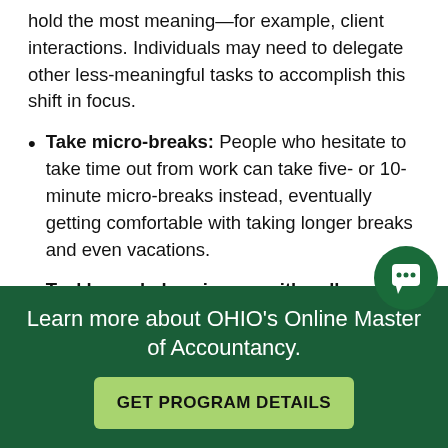hold the most meaning—for example, client interactions. Individuals may need to delegate other less-meaningful tasks to accomplish this shift in focus.
Take micro-breaks: People who hesitate to take time out from work can take five- or 10-minute micro-breaks instead, eventually getting comfortable with taking longer breaks and even vacations.
Tackle workplace issues with colleagues: Fraught work issues stemming from a lack of
Learn more about OHIO's Online Master of Accountancy.
GET PROGRAM DETAILS